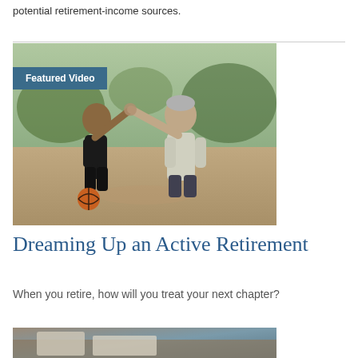potential retirement-income sources.
[Figure (photo): An elderly man and a young child giving each other a high five outdoors on a basketball court, with a 'Featured Video' label overlay in the top-left corner.]
Dreaming Up an Active Retirement
When you retire, how will you treat your next chapter?
[Figure (photo): Partial view of a photo at the bottom of the page, appears to show an outdoor/tabletop scene.]